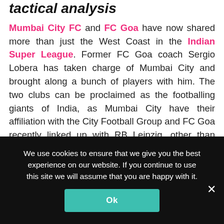tactical analysis
Mumbai City FC and FC Goa have now shared more than just the West Coast in the Indian Super League. Former FC Goa coach Sergio Lobera has taken charge of Mumbai City and brought along a bunch of players with him. The two clubs can be proclaimed as the footballing giants of India, as Mumbai City have their affiliation with the City Football Group and FC Goa recently linked up with RB Leipzig, other than having their financial prowess and incredible squads. These two captivating sides locked horns at Jawaharlal Nehru Stadium on
We use cookies to ensure that we give you the best experience on our website. If you continue to use this site we will assume that you are happy with it.